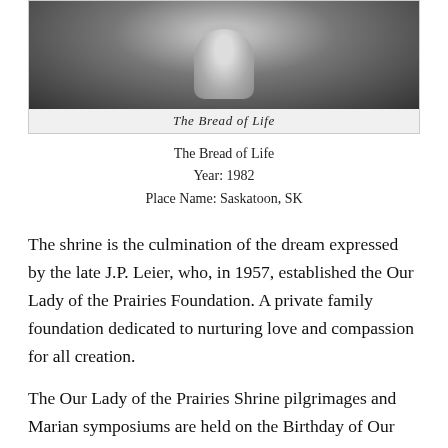[Figure (photo): Black and white photograph of a religious shrine or statue, showing a figure with floral arrangements. Caption inside reads 'The Bread of Life' in italic text.]
The Bread of Life
Year: 1982
Place Name: Saskatoon, SK
The shrine is the culmination of the dream expressed by the late J.P. Leier, who, in 1957, established the Our Lady of the Prairies Foundation. A private family foundation dedicated to nurturing love and compassion for all creation.
The Our Lady of the Prairies Shrine pilgrimages and Marian symposiums are held on the Birthday of Our Lady, September 8.